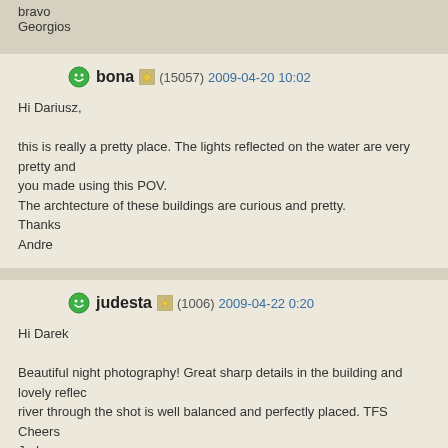bravo
Georgios
bona (15057) 2009-04-20 10:02

Hi Dariusz,

this is really a pretty place. The lights reflected on the water are very pretty and you made using this POV.
The archtecture of these buildings are curious and pretty.
Thanks
Andre
judesta (1006) 2009-04-22 0:20

Hi Darek

Beautiful night photography! Great sharp details in the building and lovely reflec river through the shot is well balanced and perfectly placed. TFS
Cheers
Jude
elkab (3780) 2009-04-24 9:10